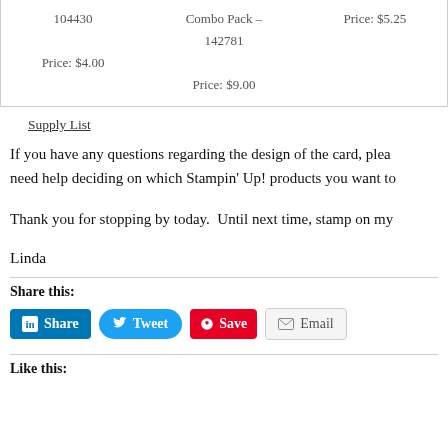| 104430
Price: $4.00 | Combo Pack –
142781
Price: $9.00 | Price: $5.25 |
Supply List
If you have any questions regarding the design of the card, please need help deciding on which Stampin' Up! products you want to
Thank you for stopping by today.  Until next time, stamp on my
Linda
Share this:
Share  Tweet  Save  Email
Like this: